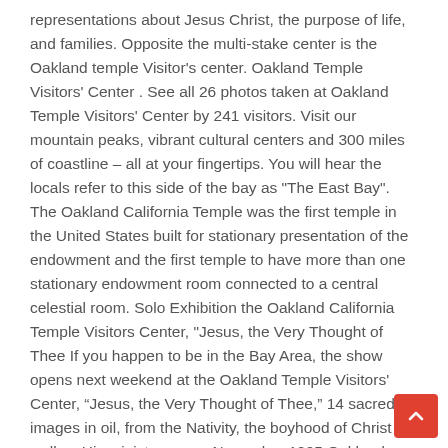representations about Jesus Christ, the purpose of life, and families. Opposite the multi-stake center is the Oakland temple Visitor's center. Oakland Temple Visitors' Center . See all 26 photos taken at Oakland Temple Visitors' Center by 241 visitors. Visit our mountain peaks, vibrant cultural centers and 300 miles of coastline – all at your fingertips. You will hear the locals refer to this side of the bay as "The East Bay". The Oakland California Temple was the first temple in the United States built for stationary presentation of the endowment and the first temple to have more than one stationary endowment room connected to a central celestial room. Solo Exhibition the Oakland California Temple Visitors Center, "Jesus, the Very Thought of Thee If you happen to be in the Bay Area, the show opens next weekend at the Oakland Temple Visitors' Center, “Jesus, the Very Thought of Thee,” 14 sacred images in oil, from the Nativity, the boyhood of Christ as well as His ministry years. November 1995 Oakland Temple Substitution Available Temples Jordan River Temple Mt 46, Boulevard Saint Antoine Le Chesnay, Paris Le Chesnay +3 70 73 70 00. As always, the grounds look beautiful. The Oakland